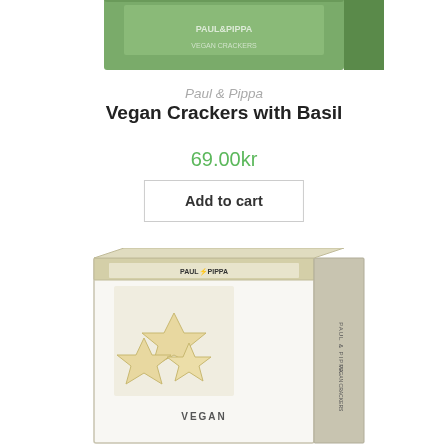[Figure (photo): Top portion of a green Paul & Pippa Vegan Crackers with Basil product box, partially cropped at the top of the page]
Paul & Pippa
Vegan Crackers with Basil
69.00kr
Add to cart
[Figure (photo): Paul & Pippa white and gold product box showing vegan crackers, with text PAUL & PIPPA and VEGAN visible on the packaging, star-shaped crackers visible through window or illustration on front]